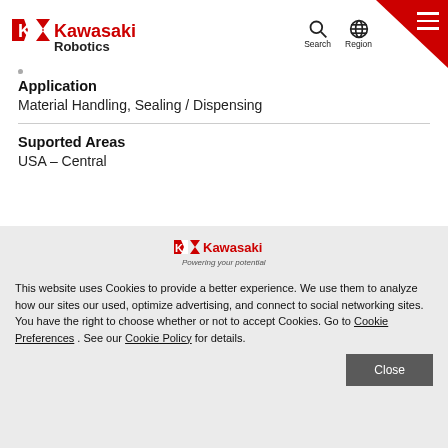Kawasaki Robotics — Search | Region | Menu
Application
Material Handling, Sealing / Dispensing
Suported Areas
USA – Central
[Figure (logo): Kawasaki Powering your potential logo]
This website uses Cookies to provide a better experience. We use them to analyze how our sites our used, optimize advertising, and connect to social networking sites. You have the right to choose whether or not to accept Cookies. Go to Cookie Preferences . See our Cookie Policy for details.